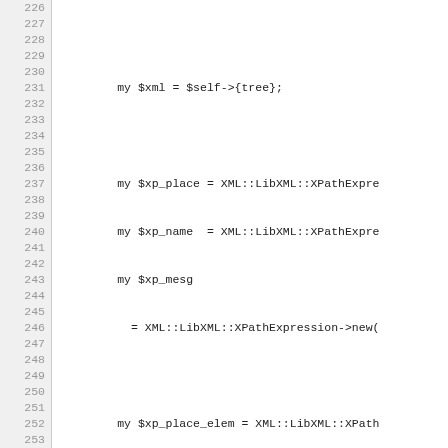Source code listing, lines 226-256, Perl code with XML::LibXML XPath expressions and attribute lookups.